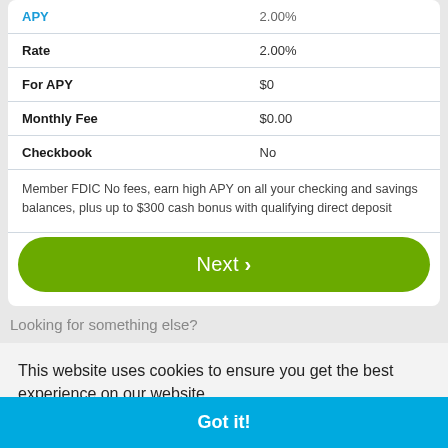| Field | Value |
| --- | --- |
| APY | 2.00% |
| Rate | 2.00% |
| For APY | $0 |
| Monthly Fee | $0.00 |
| Checkbook | No |
Member FDIC No fees, earn high APY on all your checking and savings balances, plus up to $300 cash bonus with qualifying direct deposit
Next ›
Looking for something else?
This website uses cookies to ensure you get the best experience on our website.
Learn more
Got it!